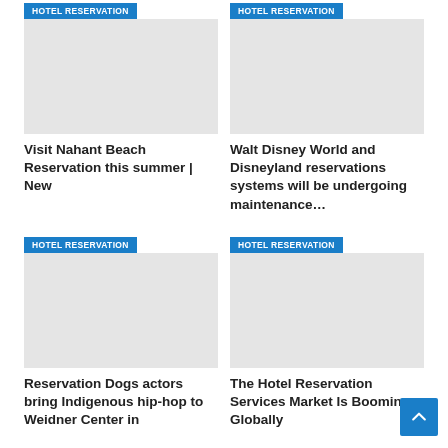[Figure (screenshot): Two-column grid of article cards tagged HOTEL RESERVATION. Top-left card: badge, image placeholder, title 'Visit Nahant Beach Reservation this summer | New'. Top-right card: badge, image placeholder, title 'Walt Disney World and Disneyland reservations systems will be undergoing maintenance...'. Bottom-left card: badge, image placeholder, title 'Reservation Dogs actors bring Indigenous hip-hop to Weidner Center in'. Bottom-right card: badge, image placeholder, title 'The Hotel Reservation Services Market Is Booming Globally'. Scroll-to-top button bottom-right.]